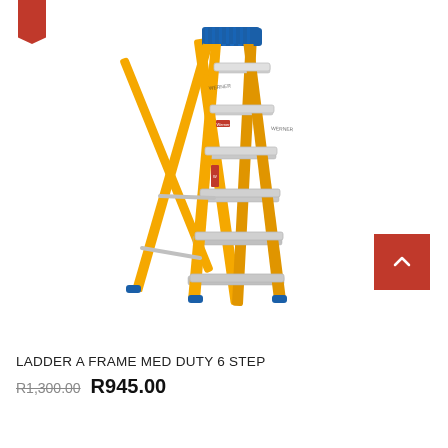[Figure (photo): Yellow fiberglass A-frame step ladder with 6 steps and blue top, photographed against white background. Brand label visible on side rail.]
LADDER A FRAME MED DUTY 6 STEP
R1,300.00 R945.00